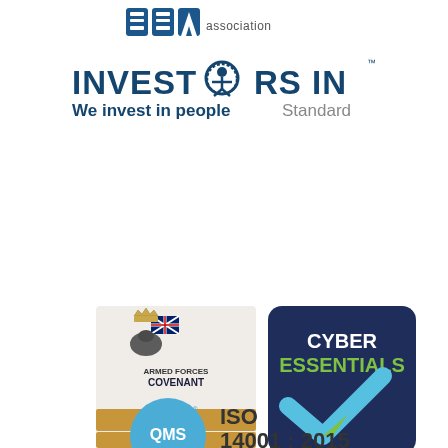[Figure (logo): IEA association logo at top center]
[Figure (logo): Investors in People logo - We invest in people Standard]
[Figure (logo): Armed Forces Covenant - Employer Recognition Scheme Gold Award 2022]
[Figure (logo): Cyber Essentials logo with checkmark]
[Figure (logo): QMS ISO 14001:2015 certification logo (partially visible)]